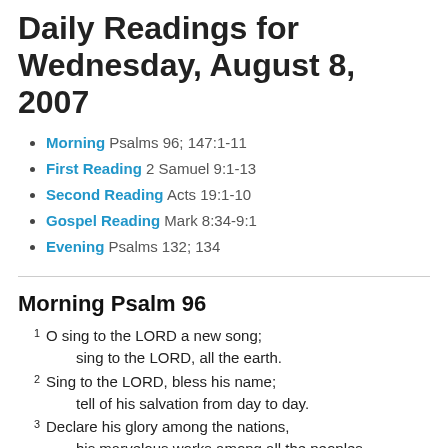Daily Readings for Wednesday, August 8, 2007
Morning Psalms 96; 147:1-11
First Reading 2 Samuel 9:1-13
Second Reading Acts 19:1-10
Gospel Reading Mark 8:34-9:1
Evening Psalms 132; 134
Morning Psalm 96
1 O sing to the LORD a new song;
    sing to the LORD, all the earth.
2 Sing to the LORD, bless his name;
    tell of his salvation from day to day.
3 Declare his glory among the nations,
    his marvelous works among all the peoples.